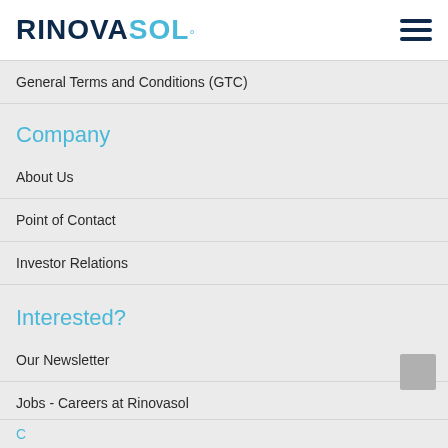RINOVASOL
General Terms and Conditions (GTC)
Company
About Us
Point of Contact
Investor Relations
Interested?
Our Newsletter
Jobs - Careers at Rinovasol
How to contact us